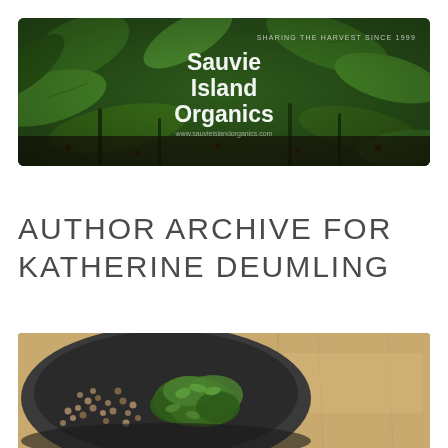[Figure (photo): Banner photo of green plant seedlings/leaves with 'Sauvie Island Organics' logo overlaid in white bold text. Tagline 'SHARING THE HARVEST SINCE 1999' appears in upper right.]
AUTHOR ARCHIVE FOR KATHERINE DEUMLING
[Figure (photo): Photo of a dark bowl/colander containing lentils or small seeds and fresh green herbs (parsley), set on a wooden surface.]